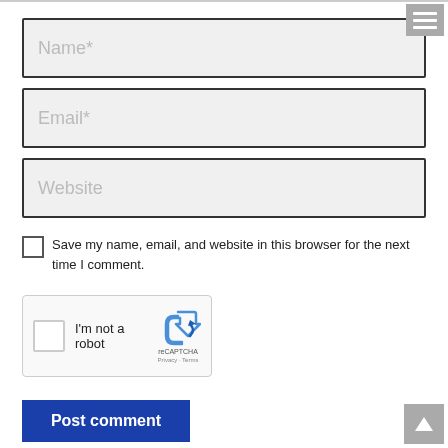[Figure (screenshot): Name input field with placeholder text 'Name*' on grey background with dark border]
[Figure (screenshot): Email input field with placeholder text 'Email*' on grey background with dark border]
[Figure (screenshot): Website input field with placeholder text 'Website' on grey background with dark border]
Save my name, email, and website in this browser for the next time I comment.
[Figure (screenshot): reCAPTCHA widget with checkbox and 'I'm not a robot' text, reCAPTCHA logo, Privacy and Terms links]
[Figure (screenshot): Blue 'Post comment' button]